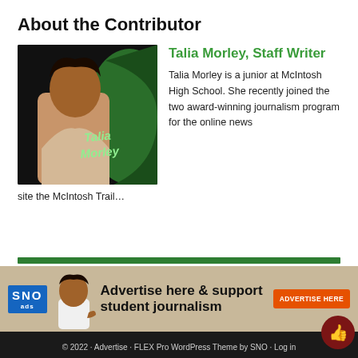About the Contributor
[Figure (photo): Photo of Talia Morley with green swoosh background and name overlay]
Talia Morley, Staff Writer
Talia Morley is a junior at McIntosh High School. She recently joined the two award-winning journalism program for the online news site the McIntosh Trail…
[Figure (infographic): SNO Ads banner: Advertise here & support student journalism with ADVERTISE HERE button]
© 2022 · Advertise · FLEX Pro WordPress Theme by SNO · Log in